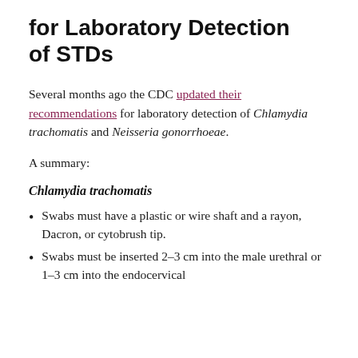for Laboratory Detection of STDs
Several months ago the CDC updated their recommendations for laboratory detection of Chlamydia trachomatis and Neisseria gonorrhoeae.
A summary:
Chlamydia trachomatis
Swabs must have a plastic or wire shaft and a rayon, Dacron, or cytobrush tip.
Swabs must be inserted 2–3 cm into the male urethral or 1–3 cm into the endocervical